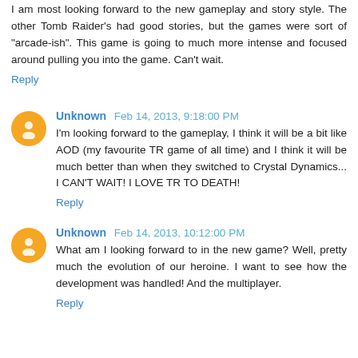I am most looking forward to the new gameplay and story style. The other Tomb Raider's had good stories, but the games were sort of "arcade-ish". This game is going to much more intense and focused around pulling you into the game. Can't wait.
Reply
Unknown  Feb 14, 2013, 9:18:00 PM
I'm looking forward to the gameplay, I think it will be a bit like AOD (my favourite TR game of all time) and I think it will be much better than when they switched to Crystal Dynamics... I CAN'T WAIT! I LOVE TR TO DEATH!
Reply
Unknown  Feb 14, 2013, 10:12:00 PM
What am I looking forward to in the new game? Well, pretty much the evolution of our heroine. I want to see how the development was handled! And the multiplayer.
Reply